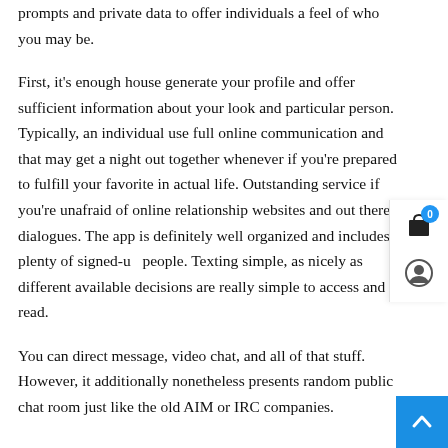prompts and private data to offer individuals a feel of who you may be.
First, it's enough house generate your profile and offer sufficient information about your look and particular person. Typically, an individual use full online communication and that may get a night out together whenever if you're prepared to fulfill your favorite in actual life. Outstanding service if you're unafraid of online relationship websites and out there dialogues. The app is definitely well organized and includes plenty of signed-up people. Texting simple, as nicely as different available decisions are really simple to access and read.
You can direct message, video chat, and all of that stuff. However, it additionally nonetheless presents random public chat room just like the old AIM or IRC companies.